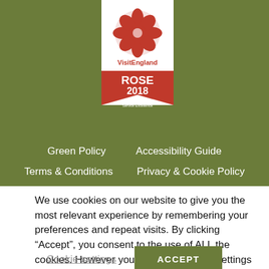[Figure (logo): VisitEngland Rose 2018 Recognition of Service Excellence badge - red rose logo with red ribbon/banner showing ROSE 2018]
[Figure (logo): VisitEngland Awards for Excellence 2018 Gold Winner Dog Friendly Business of the Year badge - white rectangle with red rose logo, red text]
Green Policy
Accessibility Guide
Terms & Conditions
Privacy & Cookie Policy
We use cookies on our website to give you the most relevant experience by remembering your preferences and repeat visits. By clicking “Accept”, you consent to the use of ALL the cookies. However you may visit Cookie Settings to provide a controlled consent.
Cookie settings
ACCEPT